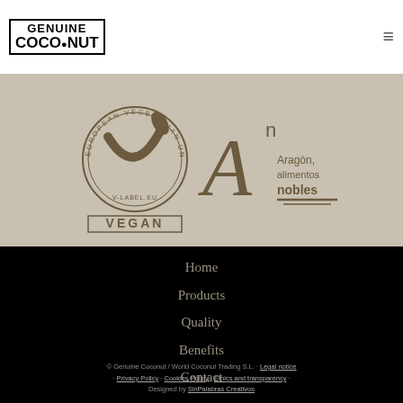[Figure (logo): Genuine Coconut logo with border]
[Figure (illustration): Hamburger menu icon (three horizontal lines)]
[Figure (logo): European Vegetarian Union V-Label VEGAN certification logo with circular text and checkmark]
[Figure (logo): Aragon alimentos nobles certification logo with large A and 'n' superscript]
Home
Products
Quality
Benefits
Contact
© Genuine Coconut / World Coconut Trading S.L. · Legal notice · Privacy Policy · Cookies Policy · Ethics and transparency · Designed by SinPalabras Creativos